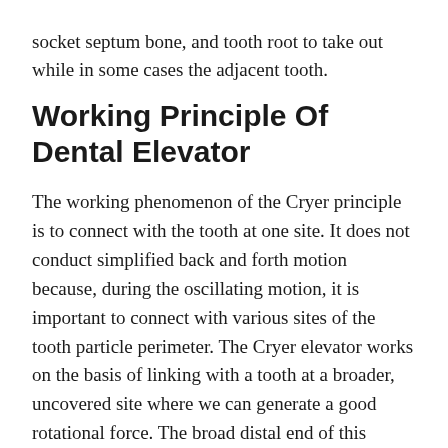socket septum bone, and tooth root to take out while in some cases the adjacent tooth.
Working Principle Of Dental Elevator
The working phenomenon of the Cryer principle is to connect with the tooth at one site. It does not conduct simplified back and forth motion because, during the oscillating motion, it is important to connect with various sites of the tooth particle perimeter. The Cryer elevator works on the basis of linking with a tooth at a broader, uncovered site where we can generate a good rotational force. The broad distal end of this elevator enhances the chances of connection of the dorsal tip surface with the hard tips of the anchor, whereas the tiny and small